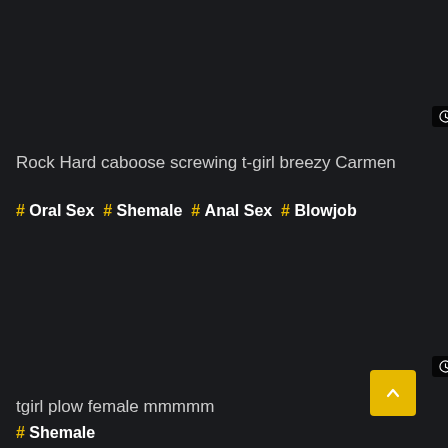05:01
Rock Hard caboose screwing t-girl breezy Carmen
# Oral Sex # Shemale # Anal Sex # Blowjob
15:10
tgirl plow female mmmmm
# Shemale